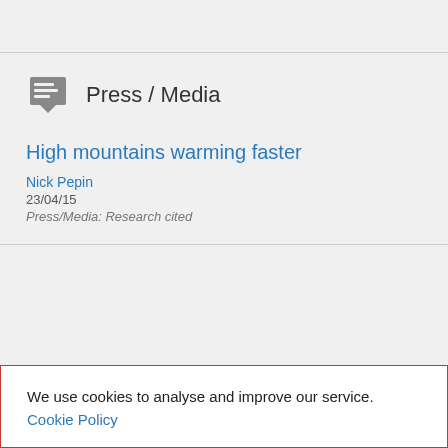Press / Media
High mountains warming faster
Nick Pepin
23/04/15
Press/Media: Research cited
We use cookies to analyse and improve our service. Cookie Policy